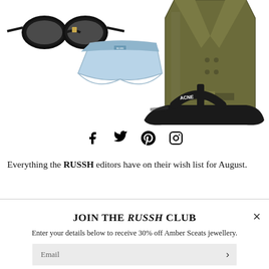[Figure (photo): Product collage showing black oval sunglasses, light blue silk underwear/boyshorts with small logo, olive/khaki leather or vinyl jacket, and black platform flip-flop sandals on white background.]
[Figure (infographic): Social media icons: Facebook (f), Twitter (bird), Pinterest (P), Instagram (camera) in black on white background.]
Everything the RUSSH editors have on their wish list for August.
JOIN THE RUSSH CLUB
Enter your details below to receive 30% off Amber Sceats jewellery.
Email